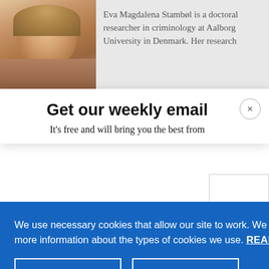[Figure (photo): Headshot photo of Eva Magdalena Stambøl, a woman with blond hair, partially visible on left side of page]
Eva Magdalena Stambøl is a doctoral researcher in criminology at Aalborg University in Denmark. Her research
Get our weekly email
It's free and will bring you the best from
We use necessary cookies that allow our site to work. We also set optional cookies that help us improve our website. For more information about the types of cookies we use. READ OUR COOKIES POLICY HERE
COOKIE SETTINGS
ALLOW ALL COOKIES
data.
commun